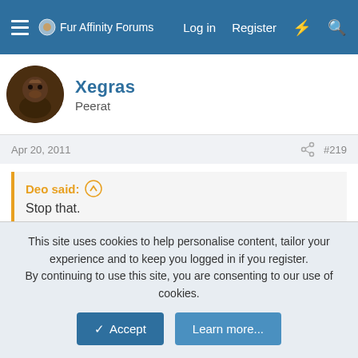Fur Affinity Forums — Log in  Register
Xegras
Peraat
Apr 20, 2011  #219
Deo said: ↑
Stop that.
It's scary how much noise they make though, it probably has something to do with the way I cook them. Apparently cooking everything lobster style is a bad idea.
Deo
This site uses cookies to help personalise content, tailor your experience and to keep you logged in if you register.
By continuing to use this site, you are consenting to our use of cookies.